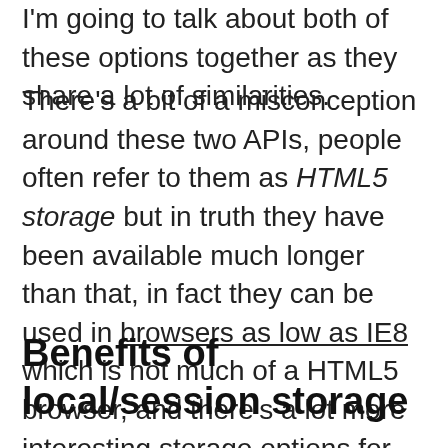I'm going to talk about both of these options together as they share a lot of similarities.
There’s a bit of a misconception around these two APIs, people often refer to them as HTML5 storage but in truth they have been available much longer than that, in fact they can be used in browsers as low as IE8 which is not much of a HTML5 browser, and there’s a lot more interesting storage options for “HTML5 browsers” that we’ll look at later.
Benefits of local/session storage